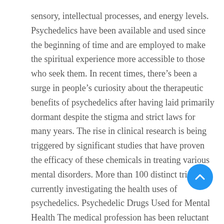sensory, intellectual processes, and energy levels. Psychedelics have been available and used since the beginning of time and are employed to make the spiritual experience more accessible to those who seek them. In recent times, there's been a surge in people's curiosity about the therapeutic benefits of psychedelics after having laid primarily dormant despite the stigma and strict laws for many years. The rise in clinical research is being triggered by significant studies that have proven the efficacy of these chemicals in treating various mental disorders. More than 100 distinct trials are currently investigating the health uses of psychedelics. Psychedelic Drugs Used for Mental Health The medical profession has been reluctant to recognize the potential of psychedelics to treat depression, anxiety, and trauma. But by 2022, psychedelics are closer to being legally regulated for medical uses.